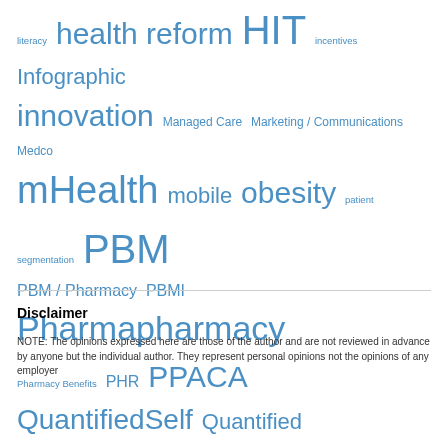[Figure (infographic): Tag cloud with healthcare-related terms in varying font sizes, all in blue. Terms include: literacy, health reform, HIT, incentives, Infographic, innovation, Managed Care, Marketing / Communications, Medco, mHealth, mobile, obesity, patient segmentation, PBM, PBM / Pharmacy, PBMI, Pharma, pharmacy, Pharmacy Benefits, PHR, PPACA, QuantifiedSelf, Quantified Self, Research, ROI, Rx, segmentation, SP, Specialty Pharmacy, Transparency, Trends, uninsured, Walgreens, wellness]
Disclaimer
NOTE: The opinions expressed here are those of the author and are not reviewed in advance by anyone but the individual author. They represent personal opinions not the opinions of any employer